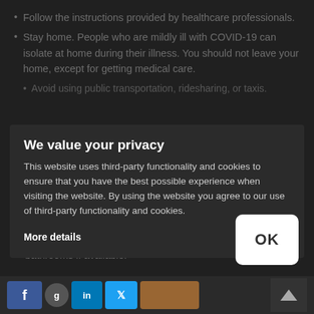Follow the instructions provided by healthcare professionals.
Stay home. People who are mildly ill with COVID-19 can isolate at home during their illness. You should not leave your home, except for getting medical care.
Avoid using public transportation, ridesharing, or taxis.
We value your privacy
This website uses third-party functionality and cookies to ensure that you have the best possible experience when visiting the website. By using the website you agree to our use of third-party functionality and cookies.
More details
Stay away from others. As much as possible you should stay in a specific room and away from other people in your home. Also, you should use separate bathrooms if available.
OK